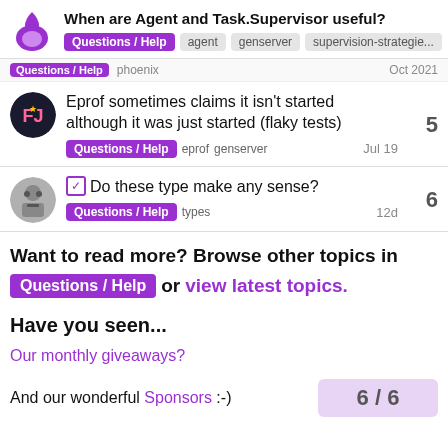When are Agent and Task.Supervisor useful? — Questions / Help  agent  genserver  supervision-strategie...
Questions / Help  phoenix  Oct 2021
Eprof sometimes claims it isn't started although it was just started (flaky tests)
Questions / Help  eprof  genserver  Jul 19  5
☑ Do these type make any sense?
Questions / Help  types  12d  6
Want to read more? Browse other topics in Questions / Help or view latest topics.
Have you seen...
Our monthly giveaways?
And our wonderful Sponsors :-)  6 / 6